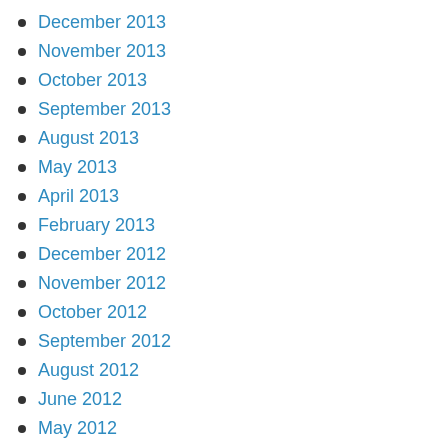December 2013
November 2013
October 2013
September 2013
August 2013
May 2013
April 2013
February 2013
December 2012
November 2012
October 2012
September 2012
August 2012
June 2012
May 2012
April 2012